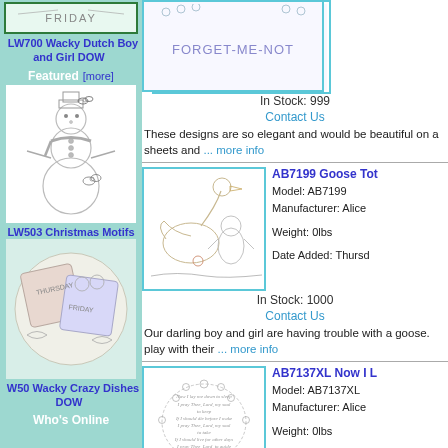[Figure (illustration): Top banner image with 'FRIDAY' text, green border, embroidery pattern]
LW700 Wacky Dutch Boy and Girl DOW
Featured  [more]
[Figure (illustration): Snowman with holly and scarf embroidery pattern]
LW503 Christmas Motifs
[Figure (illustration): Circular dish embroidery pattern with Thursday and Friday text]
W50 Wacky Crazy Dishes DOW
Who's Online
[Figure (illustration): Forget-Me-Not embroidery design with flowers]
In Stock: 999
Contact Us
These designs are so elegant and would be beautiful on a sheets and ... more info
[Figure (illustration): AB7199 Goose Tot - goose and child embroidery pattern]
AB7199 Goose Tot
Model: AB7199
Manufacturer: Alice
Weight: 0lbs
Date Added: Thursd
In Stock: 1000
Contact Us
Our darling boy and girl are having trouble with a goose. play with their ... more info
[Figure (illustration): AB7137XL Now I Lay Me Down prayer children embroidery]
AB7137XL Now I L
Model: AB7137XL
Manufacturer: Alice
Weight: 0lbs
Date Added: Thursd